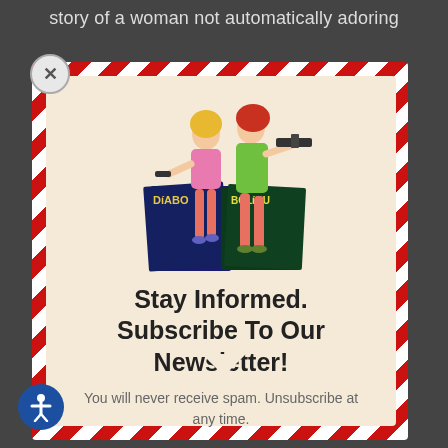story of a woman not automatically adoring
[Figure (illustration): Two illustrated women in retro 1960s/70s spy style holding weapons, standing over comic book covers labeled 'Diabol' and 'Boliq']
Stay Informed. Subscribe To Our Newsletter!
You will never receive spam. Unsubscribe at any time.